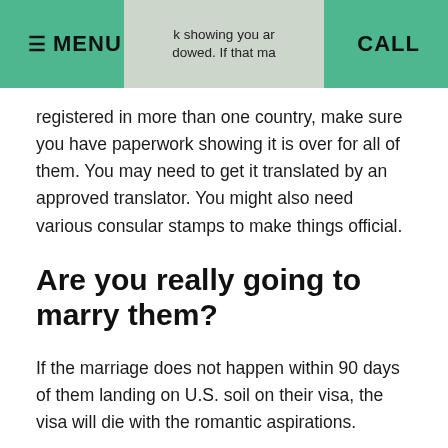≡ MENU  [k showing you ar dowed. If that ma]  CALL
registered in more than one country, make sure you have paperwork showing it is over for all of them. You may need to get it translated by an approved translator. You might also need various consular stamps to make things official.
Are you really going to marry them?
If the marriage does not happen within 90 days of them landing on U.S. soil on their visa, the visa will die with the romantic aspirations.